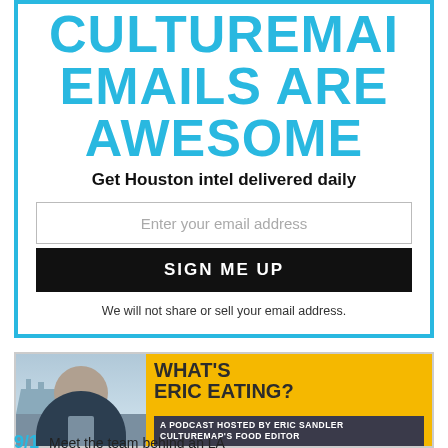CULTUREMAI EMAILS ARE AWESOME
Get Houston intel delivered daily
Enter your email address
SIGN ME UP
We will not share or sell your email address.
[Figure (photo): Podcast promotional image showing a man with beard and the text WHAT'S ERIC EATING? A PODCAST HOSTED BY ERIC SANDLER CULTUREMAP'S FOOD EDITOR]
Meet the team behind an LA